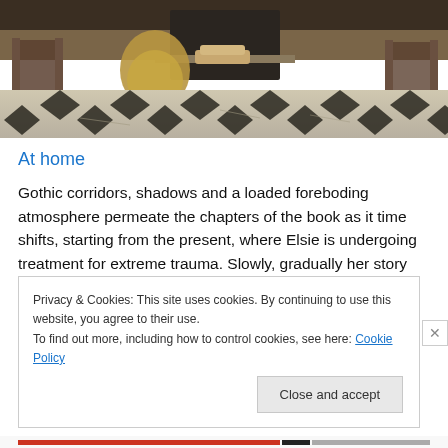[Figure (photo): Interior photograph of a grand room with black and white checkered marble floor, ornate furniture, and a fireplace visible in background. A figure draped in golden fabric is visible near the fireplace.]
At home
Gothic corridors, shadows and a loaded foreboding atmosphere permeate the chapters of the book as it time shifts, starting from the present, where Elsie is undergoing treatment for extreme trauma. Slowly, gradually her story begins to unfold to her incredulous doctor.
Privacy & Cookies: This site uses cookies. By continuing to use this website, you agree to their use.
To find out more, including how to control cookies, see here: Cookie Policy
Close and accept